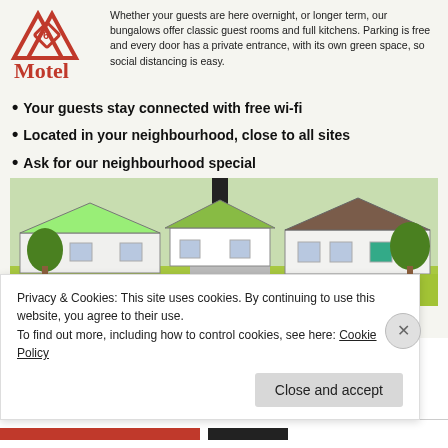[Figure (logo): Motel 6-style logo with red triangular roof graphic above the word Motel in red serif text]
Whether your guests are here overnight, or longer term, our bungalows offer classic guest rooms and full kitchens. Parking is free and every door has a private entrance, with its own green space, so social distancing is easy.
Your guests stay connected with free wi-fi
Located in your neighbourhood, close to all sites
Ask for our neighbourhood special
[Figure (illustration): Illustrated exterior of a motel with bungalow-style buildings, a tall red motel sign, green lawn, trees, and cars in the parking lot]
Call and Reserve Today!
Privacy & Cookies: This site uses cookies. By continuing to use this website, you agree to their use.
To find out more, including how to control cookies, see here: Cookie Policy